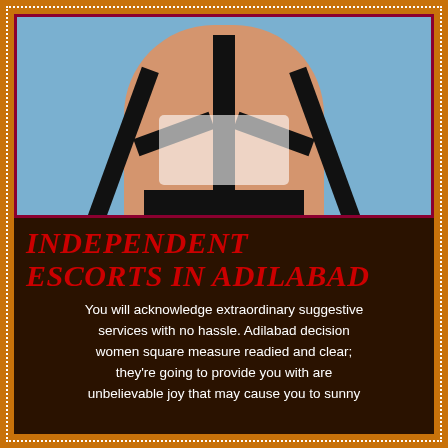[Figure (photo): Close-up photo of a woman wearing a black strappy athletic/fashion top with a white undergarment visible, light blue/sky background]
INDEPENDENT ESCORTS IN ADILABAD
You will acknowledge extraordinary suggestive services with no hassle. Adilabad decision women square measure readied and clear; they're going to provide you with are unbelievable joy that may cause you to sunny